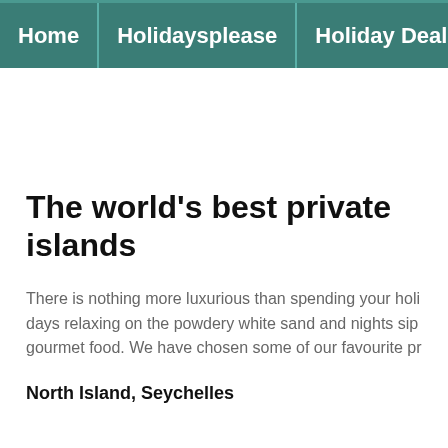Home | Holidaysplease | Holiday Deals
The world's best private islands
There is nothing more luxurious than spending your holidays relaxing on the powdery white sand and nights sipping gourmet food. We have chosen some of our favourite pr
North Island, Seychelles